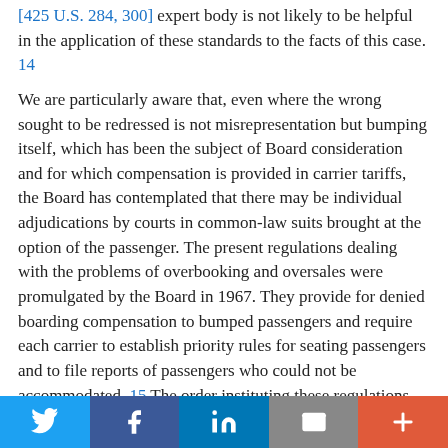[425 U.S. 284, 300] expert body is not likely to be helpful in the application of these standards to the facts of this case. 14
We are particularly aware that, even where the wrong sought to be redressed is not misrepresentation but bumping itself, which has been the subject of Board consideration and for which compensation is provided in carrier tariffs, the Board has contemplated that there may be individual adjudications by courts in common-law suits brought at the option of the passenger. The present regulations dealing with the problems of overbooking and oversales were promulgated by the Board in 1967. They provide for denied boarding compensation to bumped passengers and require each carrier to establish priority rules for seating passengers and to file reports of passengers who could not be accommodated. 15 The order instituting these regulations
Twitter | Facebook | LinkedIn | Email | More